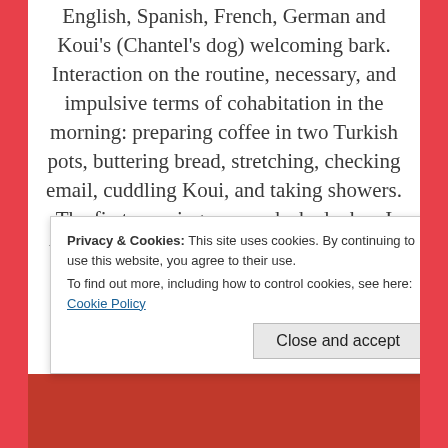English, Spanish, French, German and Koui's (Chantel's dog) welcoming bark. Interaction on the routine, necessary, and impulsive terms of cohabitation in the morning: preparing coffee in two Turkish pots, buttering bread, stretching, checking email, cuddling Koui, and taking showers. The first morning my mask shed when I walked into the kitchen in my nightie and open robe. What happened in twelve hours t…
Privacy & Cookies: This site uses cookies. By continuing to use this website, you agree to their use.
To find out more, including how to control cookies, see here: Cookie Policy